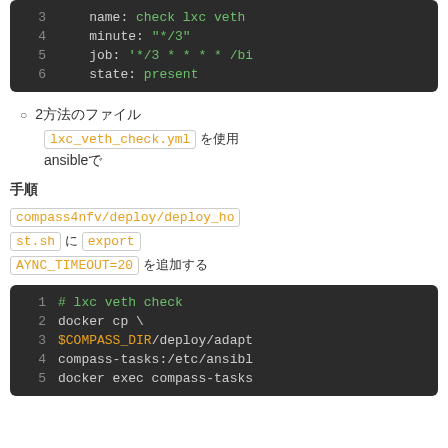[Figure (screenshot): Code block showing lines 3-6 of a YAML configuration with fields: name: check lxc veth, minute: "*/3", job: '*/3 * * * * /bi...', state: present]
2（文字化けテキスト）
lxc_veth_check.yml （文字化けテキスト）
ansible（文字化け）
（文字化け）
compass4nfv/deploy/deploy_host.sh （文字化け） export AYNC_TIMEOUT=20 （文字化けテキスト）
[Figure (screenshot): Code block showing lines 1-5 of a shell script: # lxc veth check, docker cp \, $COMPASS_DIR/deploy/adapt..., compass-tasks:/etc/ansibl..., docker exec compass-tasks...]